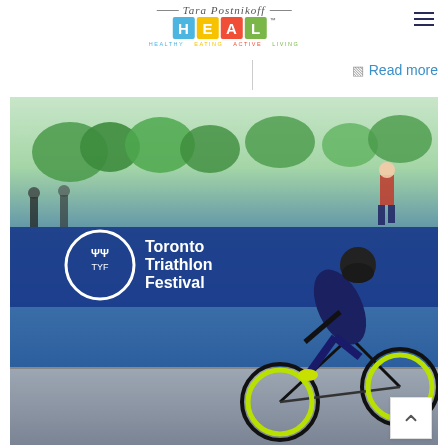[Figure (logo): Tara Postnikoff HEAL logo with colored letter boxes H (blue), E (yellow), A (red), L (green) and tagline Healthy Eating Active Living]
Read more
[Figure (photo): Cyclist racing at the Toronto Triathlon Festival, wearing a black helmet and tri suit, riding a green bicycle. A banner in the background reads Toronto Triathlon Festival with the TTF logo.]